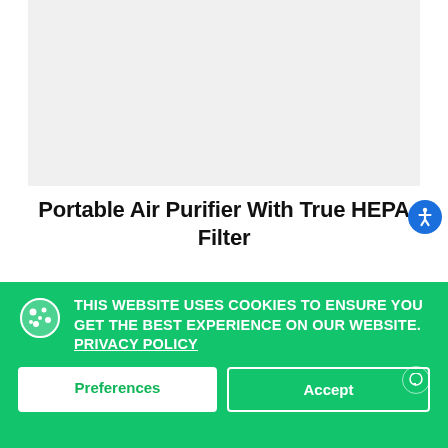[Figure (photo): Product image area — light grey background placeholder for a portable air purifier product photo]
Portable Air Purifier With True HEPA Filter
THIS WEBSITE USES COOKIES TO ENSURE YOU GET THE BEST EXPERIENCE ON OUR WEBSITE. PRIVACY POLICY
Preferences
Accept